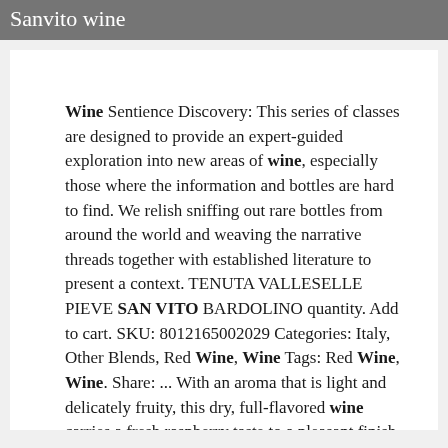Sanvito wine
Wine Sentience Discovery: This series of classes are designed to provide an expert-guided exploration into new areas of wine, especially those where the information and bottles are hard to find. We relish sniffing out rare bottles from around the world and weaving the narrative threads together with established literature to present a context. TENUTA VALLESELLE PIEVE SAN VITO BARDOLINO quantity. Add to cart. SKU: 8012165002029 Categories: Italy, Other Blends, Red Wine, Wine Tags: Red Wine, Wine. Share: ... With an aroma that is light and delicately fruity, this dry, full-flavored wine carries a fresh raspberry taste to a pleasant finish. Enjoy with risotto, pasta with meat